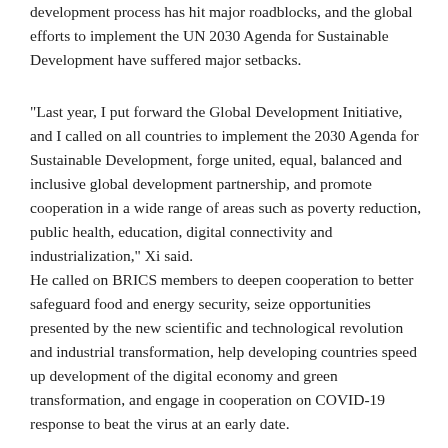development process has hit major roadblocks, and the global efforts to implement the UN 2030 Agenda for Sustainable Development have suffered major setbacks.
"Last year, I put forward the Global Development Initiative, and I called on all countries to implement the 2030 Agenda for Sustainable Development, forge united, equal, balanced and inclusive global development partnership, and promote cooperation in a wide range of areas such as poverty reduction, public health, education, digital connectivity and industrialization," Xi said.
He called on BRICS members to deepen cooperation to better safeguard food and energy security, seize opportunities presented by the new scientific and technological revolution and industrial transformation, help developing countries speed up development of the digital economy and green transformation, and engage in cooperation on COVID-19 response to beat the virus at an early date.